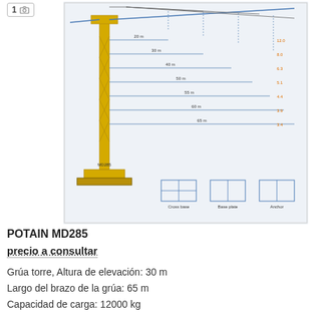[Figure (engineering-diagram): Technical schematic of POTAIN MD285 tower crane showing side elevation with labeled dimensions for jib lengths and load capacities]
POTAIN MD285
precio a consultar
Grúa torre, Altura de elevación: 30 m
Largo del brazo de la grúa: 65 m
Capacidad de carga: 12000 kg
Año: 1998
Países Bajos, Vierpolders
[Figure (engineering-diagram): Technical schematic of MDT 219 J10 tower crane showing side elevation]